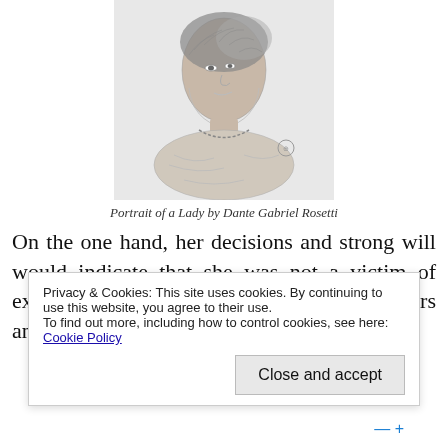[Figure (illustration): Pencil sketch portrait of a woman, bust view, looking down and to the side, wearing a necklace and draped clothing. Artwork by Dante Gabriel Rosetti.]
Portrait of a Lady by Dante Gabriel Rosetti
On the one hand, her decisions and strong will would indicate that she was not a victim of exploitation. On the other, certain behaviors and events in her life might be considered
Privacy & Cookies: This site uses cookies. By continuing to use this website, you agree to their use.
To find out more, including how to control cookies, see here: Cookie Policy
Close and accept